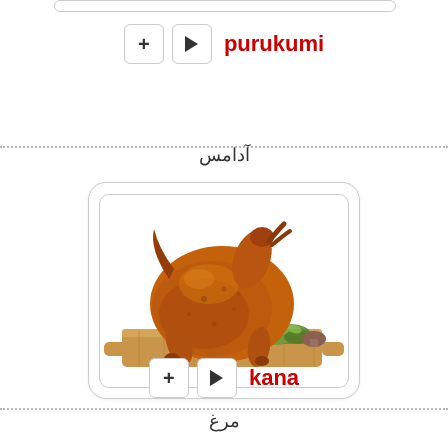purukumi
آدامس
[Figure (photo): A whole roasted chicken on a wooden cutting board, garnished with green herbs, on a white background.]
kana
مرغ